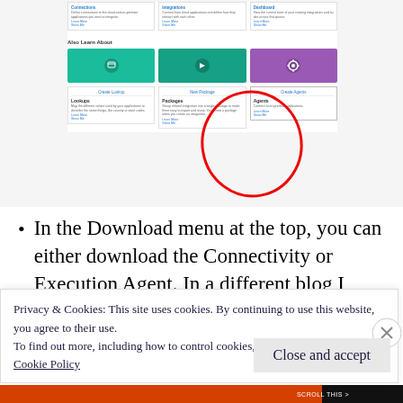[Figure (screenshot): Screenshot of a web application interface showing cards for Connections, Integrations, Dashboard in a top row, then an 'Also Learn About' section with three colored tiles: Lookups (green), Packages (teal), Agents (purple). A red hand-drawn circle highlights the Agents tile. The interface appears to be a documentation or product navigation page.]
In the Download menu at the top, you can either download the Connectivity or Execution Agent. In a different blog I show
Privacy & Cookies: This site uses cookies. By continuing to use this website, you agree to their use.
To find out more, including how to control cookies, see here:
Cookie Policy
Close and accept